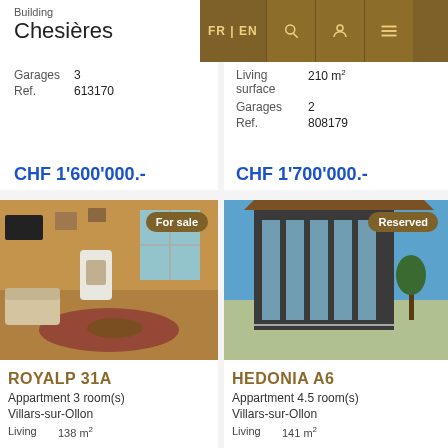Building Chesières
Garages 3
Ref. 613170
CHF 1'600'000.-
Living surface 210 m²
Garages 2
Ref. 808179
CHF 1'700'000.-
[Figure (photo): Interior of apartment ROYALP 31A with fireplace, living room with wooden decor, badge 'For sale']
ROYALP 31A
Appartment 3 room(s)
Villars-sur-Ollon
Living 138 m²
[Figure (photo): Exterior of modern apartment building HEDONIA A6 with glass facade, badge 'Reserved']
HEDONIA A6
Appartment 4.5 room(s)
Villars-sur-Ollon
Living 141 m²